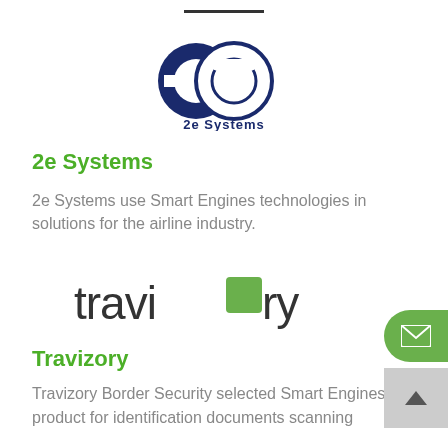[Figure (logo): 2e Systems logo — two overlapping stylized letter e shapes (dark blue filled and outline) with '2e Systems' text below in dark blue]
2e Systems
2e Systems use Smart Engines technologies in solutions for the airline industry.
[Figure (logo): Travizory logo — lowercase sans-serif text 'travizory' with a green square replacing the 'o']
Travizory
Travizory Border Security selected Smart Engines product for identification documents scanning